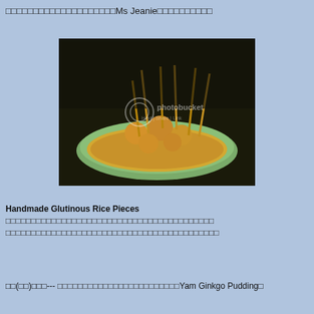□□□□□□□□□□□□□□□□□□□□Ms Jeanie□□□□□□□□□□
[Figure (photo): A bowl of handmade glutinous rice pieces (tang yuan) on skewers coated in yellow crumbs, served in a green ceramic bowl, with a Photobucket watermark overlay.]
Handmade Glutinous Rice Pieces □□□□□□□□□□□□□□□□□□□□□□□□□□□□□□□□□□□□□□□□□□□□□□□□□□□□□□□□□□□□□□□□
□□(□□)□□□--- □□□□□□□□□□□□□□□□□□□□□□□□Yam Ginkgo Pudding□